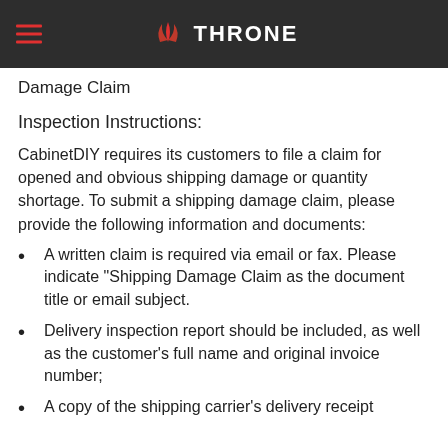THRONE
Damage Claim
Inspection Instructions:
CabinetDIY requires its customers to file a claim for opened and obvious shipping damage or quantity shortage. To submit a shipping damage claim, please provide the following information and documents:
A written claim is required via email or fax. Please indicate "Shipping Damage Claim as the document title or email subject.
Delivery inspection report should be included, as well as the customer's full name and original invoice number;
A copy of the shipping carrier's delivery receipt